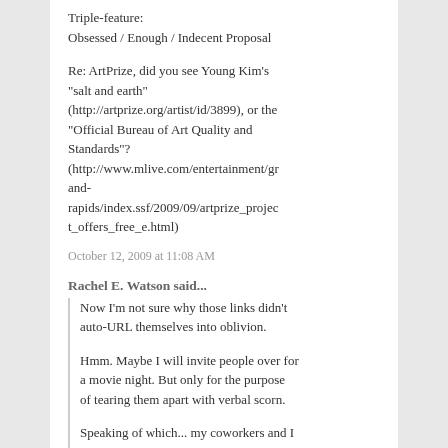Triple-feature:
Obsessed / Enough / Indecent Proposal
Re: ArtPrize, did you see Young Kim's "salt and earth" (http://artprize.org/artist/id/3899), or the "Official Bureau of Art Quality and Standards"? (http://www.mlive.com/entertainment/grand-rapids/index.ssf/2009/09/artprize_project_offers_free_e.html)
October 12, 2009 at 11:08 AM
Rachel E. Watson said...
Now I'm not sure why those links didn't auto-URL themselves into oblivion.
Hmm. Maybe I will invite people over for a movie night. But only for the purpose of tearing them apart with verbal scorn.
Speaking of which... my coworkers and I were discussing bad time-travel movies ... basically all good ones.